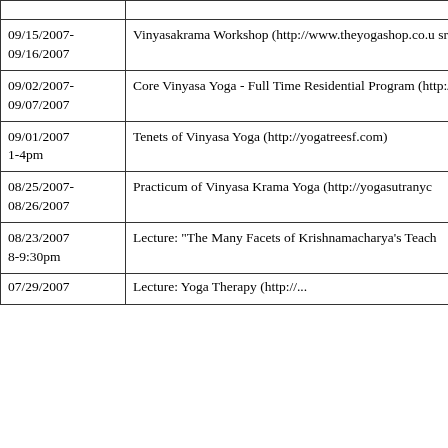| Date | Event |
| --- | --- |
|  |  |
| 09/15/2007-
09/16/2007 | Vinyasakrama Workshop (http://www.theyogashop.co.u sri-srivatsa-ramaswami-p-5397.html) |
| 09/02/2007-
09/07/2007 | Core Vinyasa Yoga - Full Time Residential Program (http://www.esalen.org/workshops/searchfiles/digitalfo session=Reservation_Session:4CA7419B0ecbf35BD2u |
| 09/01/2007
1-4pm | Tenets of Vinyasa Yoga (http://yogatreesf.com) |
| 08/25/2007-
08/26/2007 | Practicum of Vinyasa Krama Yoga (http://yogasutranyc |
| 08/23/2007
8-9:30pm | Lecture: "The Many Facets of Krishnamacharya's Teach |
| 07/29/2007 | Lecture: Yoga Therapy (http://... |